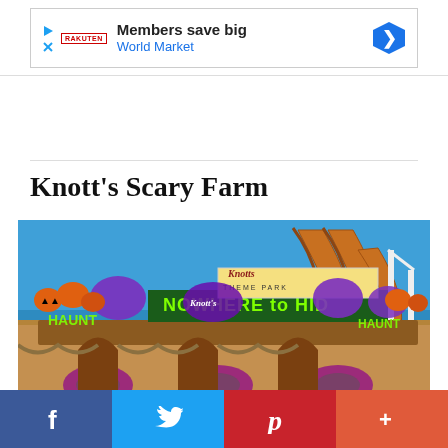[Figure (infographic): Advertisement banner: 'Members save big / World Market' with play icon, close icon, brand logo, and blue diamond navigation arrow on right]
Knott's Scary Farm
[Figure (photo): Photo of Knott's Scary Farm theme park entrance decorated for Halloween with pumpkins, purple decorations, 'NOWHERE to HIDE' banner, Knott's Theme Park sign, and roller coaster in background against blue sky]
[Figure (infographic): Social sharing bar with Facebook (blue), Twitter (light blue), Pinterest (red), and More (orange-red) buttons]